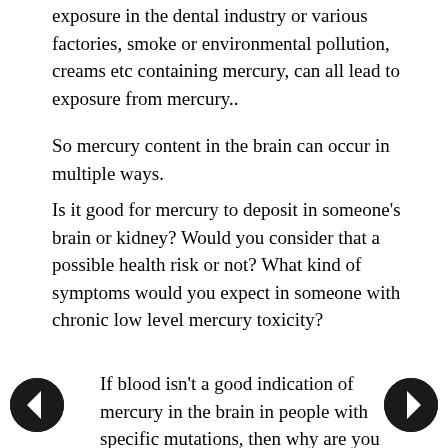exposure in the dental industry or various factories, smoke or environmental pollution, creams etc containing mercury, can all lead to exposure from mercury..
So mercury content in the brain can occur in multiple ways.
Is it good for mercury to deposit in someone's brain or kidney? Would you consider that a possible health risk or not? What kind of symptoms would you expect in someone with chronic low level mercury toxicity?
If blood isn't a good indication of mercury in the brain in people with specific mutations, then why are you relying on it to "prove" that the symptoms of mercury poisoning that they